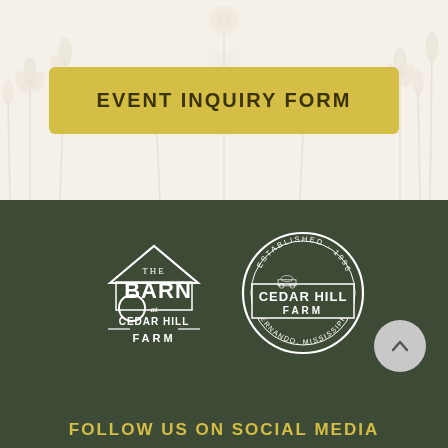EVENT INQUIRY FORM
[Figure (logo): The Barn at Cedar Hill Farm logo - white text on dark green background, stylized barn illustration with decorative lettering]
[Figure (logo): Cedar Hill Farm circular badge logo - white on dark green, with tractor wagon illustration, 'Established 1996', 'Hernando, Mississippi']
FOLLOW US ON SOCIAL MEDIA